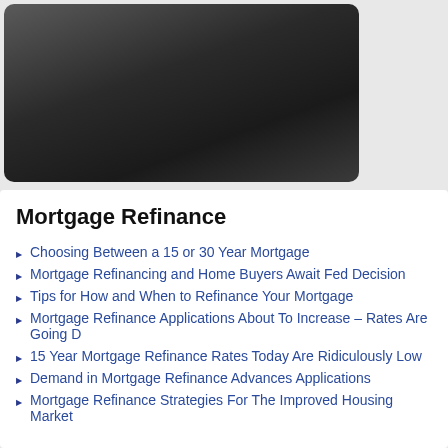[Figure (photo): Dark gradient rectangular image with rounded corners, appearing as a video thumbnail or image placeholder with dark gray tones]
Mortgage Refinance
Choosing Between a 15 or 30 Year Mortgage
Mortgage Refinancing and Home Buyers Await Fed Decision
Tips for How and When to Refinance Your Mortgage
Mortgage Refinance Applications About To Increase – Rates Are Going D
15 Year Mortgage Refinance Rates Today Are Ridiculously Low
Demand in Mortgage Refinance Advances Applications
Mortgage Refinance Strategies For The Improved Housing Market
Mortgage Brokers & Lenders Directory